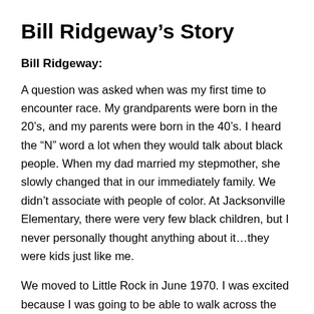Bill Ridgeway’s Story
Bill Ridgeway:
A question was asked when was my first time to encounter race. My grandparents were born in the 20’s, and my parents were born in the 40’s. I heard the “N” word a lot when they would talk about black people. When my dad married my stepmother, she slowly changed that in our immediately family. We didn’t associate with people of color. At Jacksonville Elementary, there were very few black children, but I never personally thought anything about it…they were kids just like me.
We moved to Little Rock in June 1970. I was excited because I was going to be able to walk across the street to go to 6th grade. Boy was I wrong. That is when